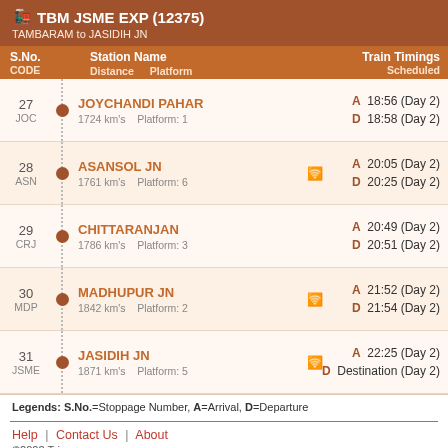TBM JSME EXP (12375) TAMBARAM to JASIDIH JN
| S.No. CODE | Station Name / Distance / Platform | Train Timings Scheduled |
| --- | --- | --- |
| 27 JOC | JOYCHANDI PAHAR
1724 km's  Platform: 1 | A 18:56 (Day 2)
D 18:58 (Day 2) |
| 28 ASN | ASANSOL JN
1761 km's  Platform: 6 | A 20:05 (Day 2)
D 20:25 (Day 2) |
| 29 CRJ | CHITTARANJAN
1786 km's  Platform: 3 | A 20:49 (Day 2)
D 20:51 (Day 2) |
| 30 MDP | MADHUPUR JN
1842 km's  Platform: 2 | A 21:52 (Day 2)
D 21:54 (Day 2) |
| 31 JSME | JASIDIH JN
1871 km's  Platform: 5 | A 22:25 (Day 2)
D Destination (Day 2) |
Legends: S.No.=Stoppage Number, A=Arrival, D=Departure
Help | Contact Us | About
©2022 Trippozo.